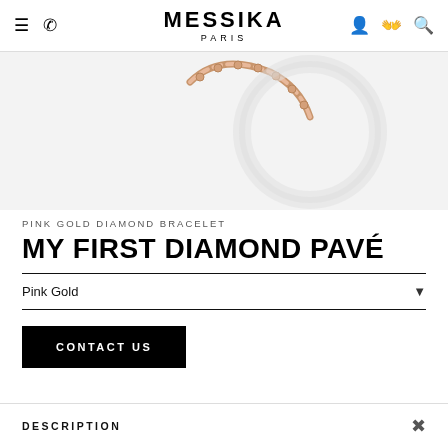MESSIKA PARIS
[Figure (photo): Pink gold diamond bracelet jewelry product photo on light gray background]
PINK GOLD DIAMOND BRACELET
MY FIRST DIAMOND PAVÉ
Pink Gold
CONTACT US
DESCRIPTION